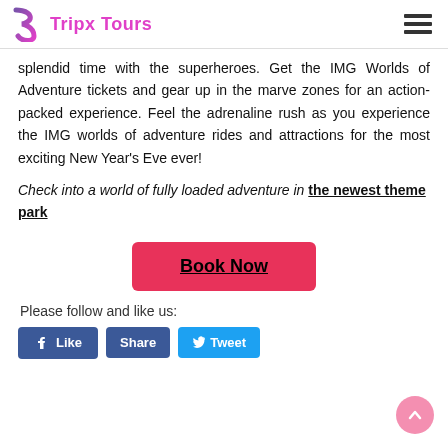Tripx Tours
splendid time with the superheroes. Get the IMG Worlds of Adventure tickets and gear up in the marve zones for an action-packed experience. Feel the adrenaline rush as you experience the IMG worlds of adventure rides and attractions for the most exciting New Year's Eve ever!
Check into a world of fully loaded adventure in the newest theme park
[Figure (other): Pink 'Book Now' button]
Please follow and like us:
[Figure (other): Social media buttons: Like, Share, Tweet]
[Figure (other): Scroll to top pink circular button with up arrow, bottom right]